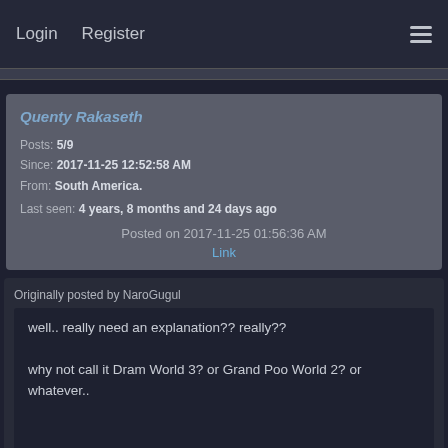Login  Register
Quenty Rakaseth
Posts: 5/9
Since: 2017-11-25 12:52:58 AM
From: South America.
Last seen: 4 years, 8 months and 24 days ago
Posted on 2017-11-25 01:56:36 AM
Link
Originally posted by NaroGugul
well.. really need an explanation?? really??

why not call it Dram World 3? or Grand Poo World 2? or whatever..


not that your hack cant be as good or even better than Takemotos, but when ive read the title i was so